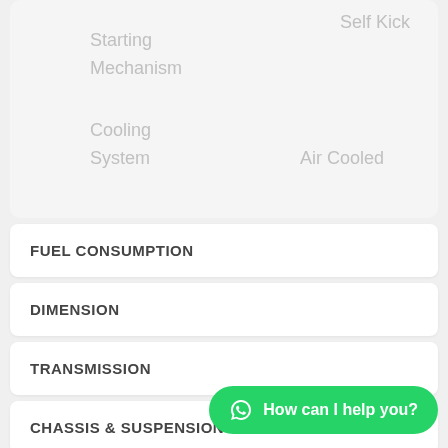[Figure (screenshot): Faded top section showing partially visible table rows with text: 'Starting Mechanism', 'Self Kick', 'Self Kick', 'Cooling System', 'Air Cooled', 'Air Cool']
FUEL CONSUMPTION
DIMENSION
TRANSMISSION
CHASSIS & SUSPENSION
BRAKING
How can I help you?